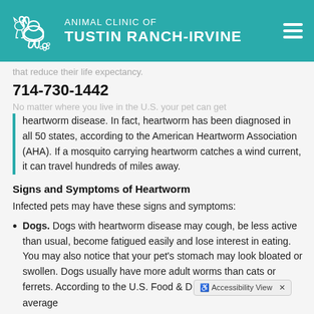[Figure (logo): Animal Clinic of Tustin Ranch-Irvine logo with teal background, white cat and dog outline, and clinic name in white text]
that reduce their life expectancy.
714-730-1442
No matter where you live in the U.S. your pet can get heartworm disease. In fact, heartworm has been diagnosed in all 50 states, according to the American Heartworm Association (AHA). If a mosquito carrying heartworm catches a wind current, it can travel hundreds of miles away.
Signs and Symptoms of Heartworm
Infected pets may have these signs and symptoms:
Dogs. Dogs with heartworm disease may cough, be less active than usual, become fatigued easily and lose interest in eating. You may also notice that your pet's stomach may look bloated or swollen. Dogs usually have more adult worms than cats or ferrets. According to the U.S. Food & D... [Accessibility View] average